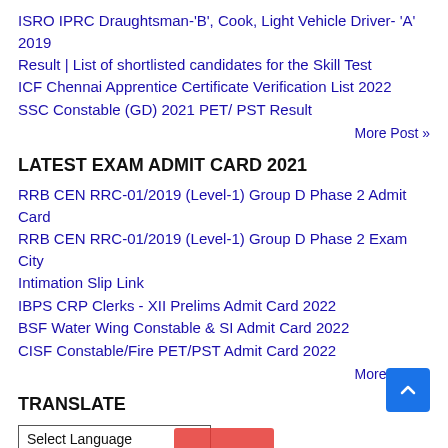ISRO IPRC Draughtsman-'B', Cook, Light Vehicle Driver- 'A' 2019 Result | List of shortlisted candidates for the Skill Test
ICF Chennai Apprentice Certificate Verification List 2022
SSC Constable (GD) 2021 PET/ PST Result
More Post »
LATEST EXAM ADMIT CARD 2021
RRB CEN RRC-01/2019 (Level-1) Group D Phase 2 Admit Card
RRB CEN RRC-01/2019 (Level-1) Group D Phase 2 Exam City Intimation Slip Link
IBPS CRP Clerks - XII Prelims Admit Card 2022
BSF Water Wing Constable & SI Admit Card 2022
CISF Constable/Fire PET/PST Admit Card 2022
More Post »
TRANSLATE
Select Language
Powered by Google Translate